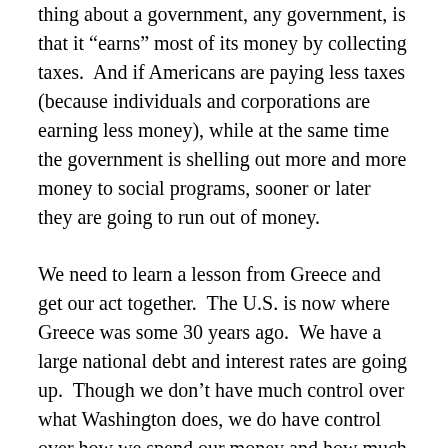thing about a government, any government, is that it “earns” most of its money by collecting taxes.  And if Americans are paying less taxes (because individuals and corporations are earning less money), while at the same time the government is shelling out more and more money to social programs, sooner or later they are going to run out of money.
We need to learn a lesson from Greece and get our act together.  The U.S. is now where Greece was some 30 years ago.  We have a large national debt and interest rates are going up.  Though we don’t have much control over what Washington does, we do have control over how we spend our money and how much debt our family has.  Not everyone in Greece right now is standing in line at the ATM; many, many people could see this bank shutdown coming and prepared themselves accordingly.  The financial turmoil in Greece has been in the news for several years, and the suffering is